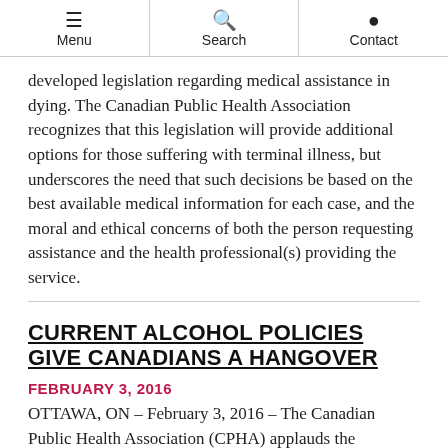Menu | Search | Contact
developed legislation regarding medical assistance in dying. The Canadian Public Health Association recognizes that this legislation will provide additional options for those suffering with terminal illness, but underscores the need that such decisions be based on the best available medical information for each case, and the moral and ethical concerns of both the person requesting assistance and the health professional(s) providing the service.
CURRENT ALCOHOL POLICIES GIVE CANADIANS A HANGOVER
FEBRUARY 3, 2016
OTTAWA, ON – February 3, 2016 – The Canadian Public Health Association (CPHA) applauds the Government of